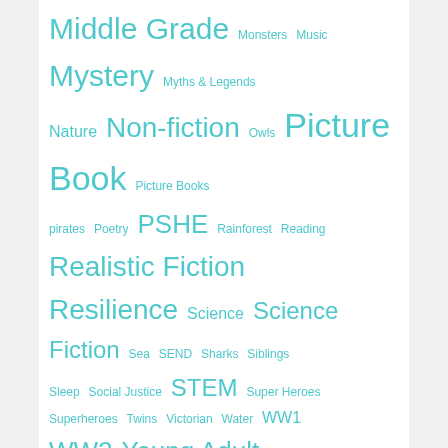Middle Grade Monsters Music Mystery Myths & Legends Nature Non-fiction Owls Picture Book Picture Books pirates Poetry PSHE Rainforest Reading Realistic Fiction Resilience Science Science Fiction Sea SEND Sharks Siblings Sleep Social Justice STEM Super Heroes Superheroes Twins Victorian Water WW1 WW2 Young Adult
- Search by Category -
Graphic Novel (dropdown)
- Archives -
Select Month (dropdown)